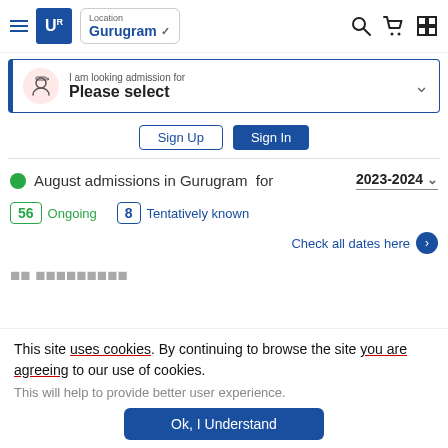[Figure (screenshot): Website header with hamburger menu, UR logo, Gurugram location selector, search icon, cart icon, and grid icon]
[Figure (screenshot): Admission selector bar: I am looking admission for - Please select dropdown]
Sign Up   Sign In
August admissions in Gurugram  for   2023-2024
56 Ongoing   8 Tentatively known
Check all dates here
This site uses cookies. By continuing to browse the site you are agreeing to our use of cookies.
This will help to provide better user experience.
Ok, I Understand